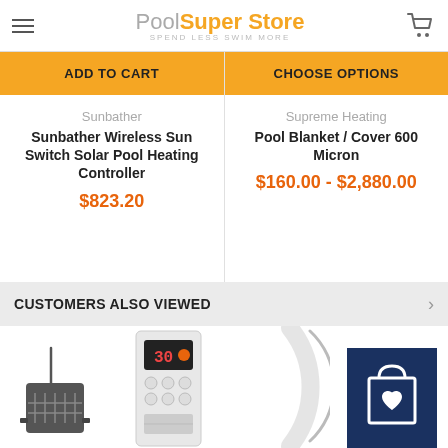Pool Super Store — SPEND LESS SWIM MORE
ADD TO CART
CHOOSE OPTIONS
Sunbather
Sunbather Wireless Sun Switch Solar Pool Heating Controller
$823.20
Supreme Heating
Pool Blanket / Cover 600 Micron
$160.00 - $2,880.00
CUSTOMERS ALSO VIEWED
[Figure (photo): Solar sensor device - small dark rectangular device with antenna]
[Figure (photo): Pool heating controller unit - white rectangular device with digital display showing 30 and orange indicator light, with buttons]
[Figure (photo): Pool blanket / cover - partial circular shape in light gray]
[Figure (other): Dark navy blue shopping bag icon with heart symbol]